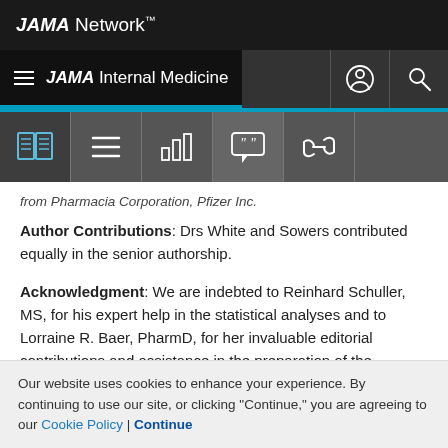JAMA Network
JAMA Internal Medicine
from Pharmacia Corporation, Pfizer Inc.
Author Contributions: Drs White and Sowers contributed equally in the senior authorship.
Acknowledgment: We are indebted to Reinhard Schuller, MS, for his expert help in the statistical analyses and to Lorraine R. Baer, PharmD, for her invaluable editorial contributions and assistance in the preparation of the manuscript.
Our website uses cookies to enhance your experience. By continuing to use our site, or clicking "Continue," you are agreeing to our Cookie Policy | Continue